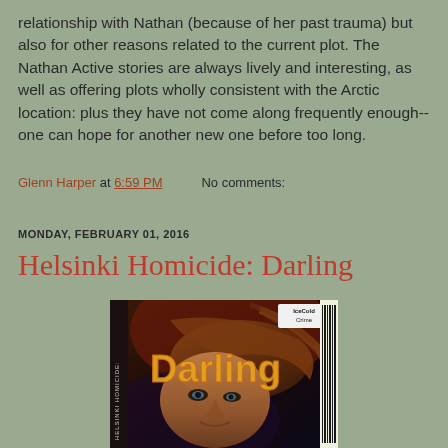relationship with Nathan (because of her past trauma) but also for other reasons related to the current plot. The Nathan Active stories are always lively and interesting, as well as offering plots wholly consistent with the Arctic location: plus they have not come along frequently enough--one can hope for another new one before too long.
Glenn Harper at 6:59 PM   No comments:
MONDAY, FEBRUARY 01, 2016
Helsinki Homicide: Darling
[Figure (photo): Book cover for Helsinki Homicide: Darling showing a woman's face with wind-blown hair, dark dramatic background, yellow 'Darling' text, IceCold Crime logo in top right, barcode on right edge, 'HELSINKI HOMICIDE:' text vertically on left spine]